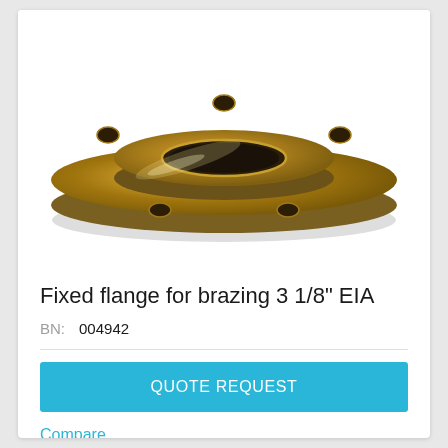[Figure (photo): Gold/brass fixed flange for brazing 3 1/8 inch EIA, viewed from above at a slight angle, showing circular ring shape with bolt holes and a central opening.]
Fixed flange for brazing 3 1/8" EIA
BN:  004942
QUOTE REQUEST
Compare